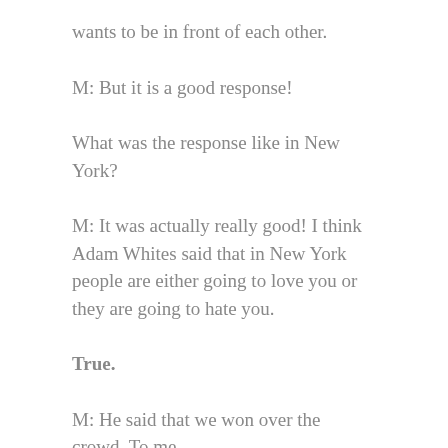wants to be in front of each other.
M: But it is a good response!
What was the response like in New York?
M: It was actually really good! I think Adam Whites said that in New York people are either going to love you or they are going to hate you.
True.
M: He said that we won over the crowd. To me,